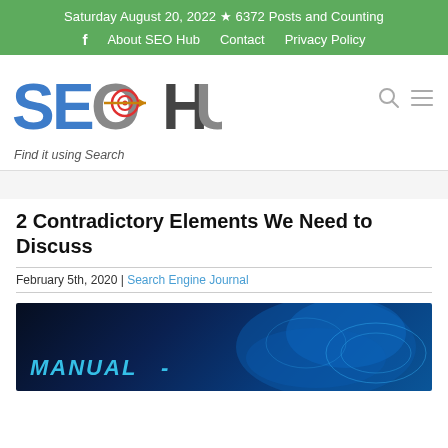Saturday August 20, 2022 ★ 6372 Posts and Counting
f | About SEO Hub | Contact | Privacy Policy
[Figure (logo): SEO Hub logo with colorful letters and target/arrow icon, tagline: Find it using Search]
2 Contradictory Elements We Need to Discuss
February 5th, 2020 | Search Engine Journal
[Figure (photo): Dark blue background with glowing blue digital hand/cloud shapes and text MANUAL-]